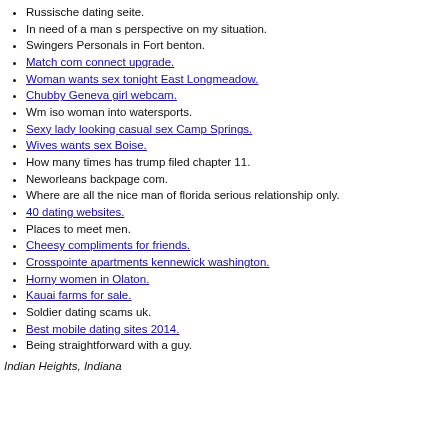Russische dating seite.
In need of a man s perspective on my situation.
Swingers Personals in Fort benton.
Match com connect upgrade.
Woman wants sex tonight East Longmeadow.
Chubby Geneva girl webcam.
Wm iso woman into watersports.
Sexy lady looking casual sex Camp Springs.
Wives wants sex Boise.
How many times has trump filed chapter 11.
Neworleans backpage com.
Where are all the nice man of florida serious relationship only.
40 dating websites.
Places to meet men.
Cheesy compliments for friends.
Crosspointe apartments kennewick washington.
Horny women in Olaton.
Kauai farms for sale.
Soldier dating scams uk.
Best mobile dating sites 2014.
Being straightforward with a guy.
Indian Heights, Indiana